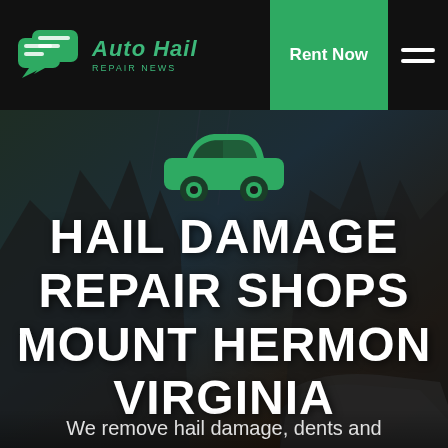[Figure (logo): Auto Hail Repair News logo with green chat bubble icons and stylized text]
Rent Now
[Figure (illustration): Green car icon silhouette on dark stormy cliff background]
HAIL DAMAGE REPAIR SHOPS MOUNT HERMON VIRGINIA
We remove hail damage, dents and